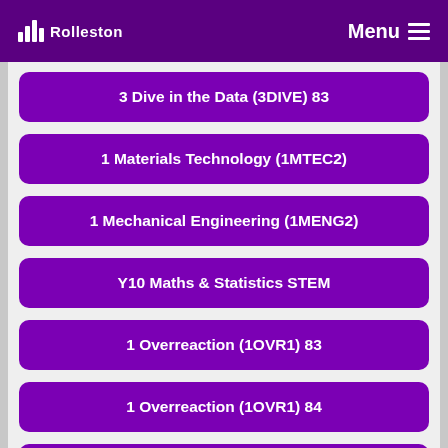Rolleston Menu
3 Dive in the Data (3DIVE) 83
1 Materials Technology (1MTEC2)
1 Mechanical Engineering (1MENG2)
Y10 Maths & Statistics STEM
1 Overreaction (1OVR1) 83
1 Overreaction (1OVR1) 84
3 Dive in the Data (3DIVE) 82